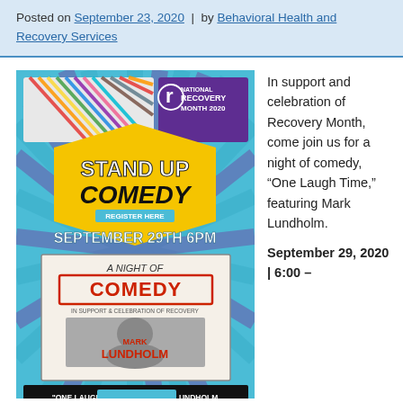Posted on September 23, 2020 | by Behavioral Health and Recovery Services
[Figure (illustration): Stand Up Comedy event poster for National Recovery Month 2020, featuring 'A Night of Comedy' with Mark Lundholm, September 29th 6PM, 'One Laugh Time' with Mark Lundholm]
In support and celebration of Recovery Month, come join us for a night of comedy, “One Laugh Time,” featuring Mark Lundholm.
September 29, 2020 | 6:00 –